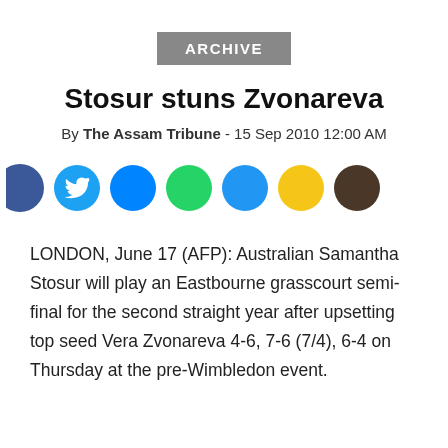ARCHIVE
Stosur stuns Zvonareva
By The Assam Tribune - 15 Sep 2010 12:00 AM
[Figure (infographic): Social media sharing icons row: Facebook (dark blue, half-visible), Twitter (light blue with bird icon), Facebook Messenger (blue), WhatsApp (green), another blue circle, yellow circle, dark brown/grey circle]
LONDON, June 17 (AFP): Australian Samantha Stosur will play an Eastbourne grasscourt semi-final for the second straight year after upsetting top seed Vera Zvonareva 4-6, 7-6 (7/4), 6-4 on Thursday at the pre-Wimbledon event.